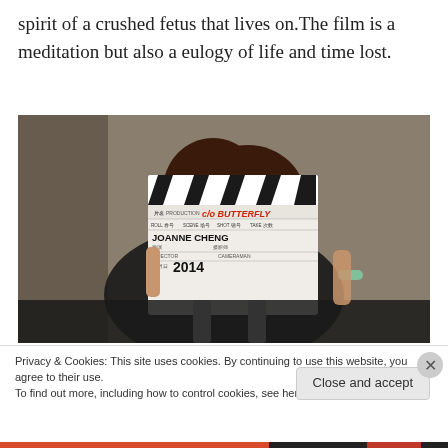spirit of a crushed fetus that lives on. The film is a meditation but also a eulogy of life and time lost.
[Figure (photo): Woman holding a film clapperboard covering her face. The clapperboard reads 'c/o BUTTERFLY', 'JOANNE CHENG', '2014'. She wears a black outfit and has a green bracelet.]
Privacy & Cookies: This site uses cookies. By continuing to use this website, you agree to their use.
To find out more, including how to control cookies, see here: Cookie Policy
Close and accept